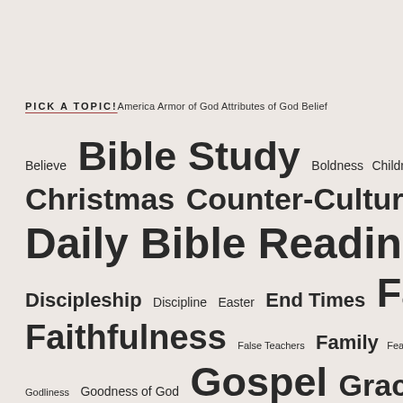PICK A TOPIC! America Armor of God Attributes of God Belief
[Figure (infographic): Tag cloud of Christian/Bible study topics with varying font sizes indicating frequency/importance. Topics include: Believe, Bible Study, Boldness, Children, Christian Life, Christmas, Counter-Culture, Courage, COVID19, Culture, Daily Bible Reading, Death, Devotions, Discipleship, Discipline, Easter, End Times, Faith, Faithfulness, False Teachers, Family, Fear, Forgiveness, Godliness, Goodness of God, Gospel, Grace, Grandparenting, Heaven, Holiness, Holy Spirit, Hope, How To Study The Bible, Jesus, Joy, Judgment, Life in Christ, Love, Marriage, Mercy, Mind of Christ, Ministry, Missions, New Testament, Obedience, Old]